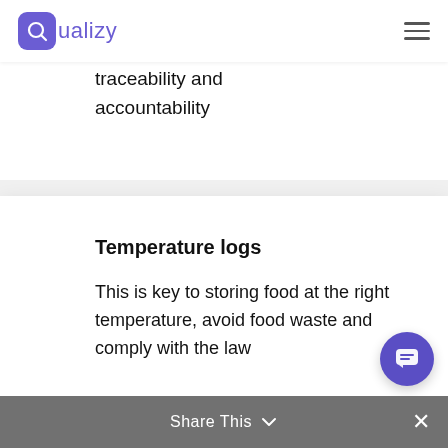Qualizy
traceability and accountability
Temperature logs
This is key to storing food at the right temperature, avoid food waste and comply with the law
Share This ∨ ×